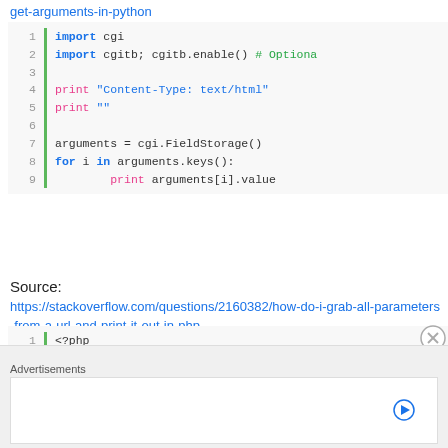get-arguments-in-python
import cgi
import cgitb; cgitb.enable() # Optiona

print "Content-Type: text/html"
print ""

arguments = cgi.FieldStorage()
for i in arguments.keys():
        print arguments[i].value
Source:
https://stackoverflow.com/questions/2160382/how-do-i-grab-all-parameters-from-a-url-and-print-it-out-in-php
<?php
foreach($_GET as $key => $value){
    echo $key . " = " . $value . "<br
Advertisements